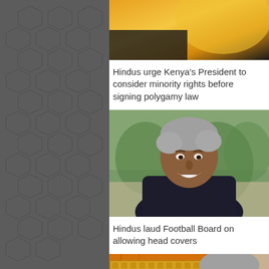[Figure (photo): Partial top image showing yellow/orange and dark gradient colors, cropped at top of page]
Hindus urge Kenya's President to consider minority rights before signing polygamy law
[Figure (photo): Portrait photo of a middle-aged South Asian man with gray hair, smiling, wearing a dark jacket with yellow collar, outdoors with blurred green background]
Hindus laud Football Board on allowing head covers
[Figure (photo): Partial portrait photo of an elderly person wearing orange/saffron robes with gold trim, visible from forehead down, outdoors with beige background]